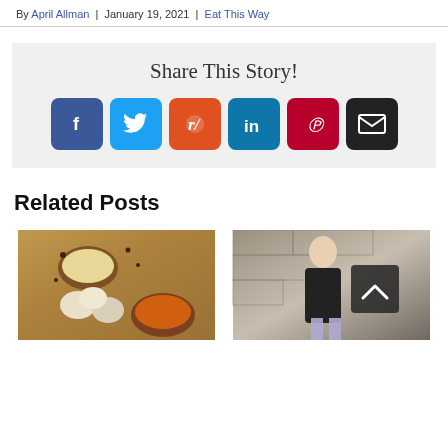By April Allman | January 19, 2021 | Eat This Way
[Figure (infographic): Share This Story box with social media icons: Facebook, Twitter, Reddit, LinkedIn, Pinterest, Email]
Related Posts
[Figure (photo): Overhead photo of eggs, bowls with creamy substance and orange food, scattered coffee beans or spices on wooden surface]
[Figure (photo): Photo of a blonde woman in black top standing against a stone wall, holding a dark board with an upward chevron arrow]